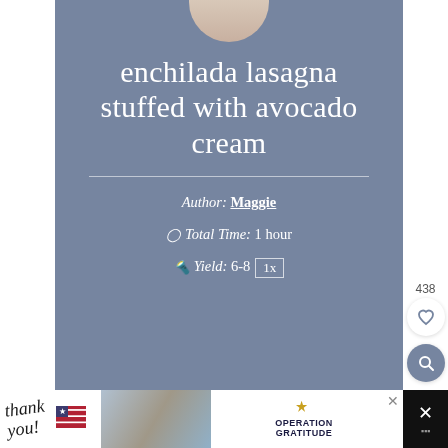[Figure (screenshot): Partial circular profile photo cropped at top of card]
enchilada lasagna stuffed with avocado cream
Author: Maggie
Total Time: 1 hour
Yield: 6-8 [1x]
[Figure (photo): Advertisement banner: Thank you with American flag graphic and Operation Gratitude ad with healthcare workers holding packages]